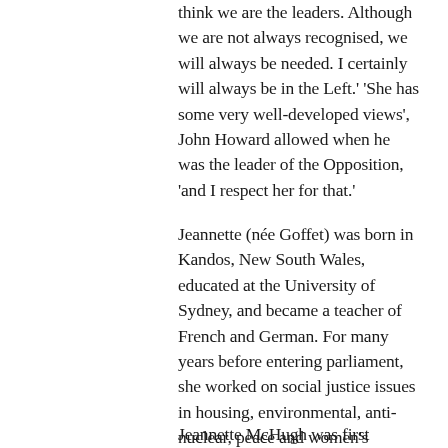think we are the leaders. Although we are not always recognised, we will always be needed. I certainly will always be in the Left.' 'She has some very well-developed views', John Howard allowed when he was the leader of the Opposition, 'and I respect her for that.'
Jeannette (née Goffet) was born in Kandos, New South Wales, educated at the University of Sydney, and became a teacher of French and German. For many years before entering parliament, she worked on social justice issues in housing, environmental, anti-nuclear, peace and women's organisations. Her husband is the former High Court Justice Michael McHugh AC QC, and she is also the chair of the Jessie Street Trust and a board member of Hoc Mai, the Australia-Vietnam Medical Foundation.
Jeannette McHugh was first elected to the